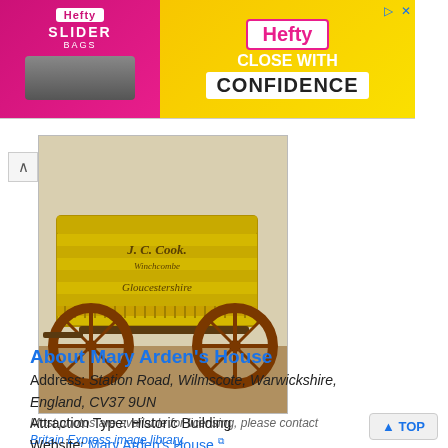[Figure (photo): Hefty Slider Bags advertisement banner with pink-to-yellow gradient, showing Hefty logo, Slider branding, and text 'CLOSE WITH CONFIDENCE']
[Figure (photo): Photograph of a historic yellow painted wooden wagon with red wheels, labeled 'J.C. Cook' and 'Gloucestershire', displayed indoors in a museum setting]
Most photos are available for licensing, please contact Britain Express image library.
About Mary Arden's House
Address: Station Road, Wilmscote, Warwickshire, England, CV37 9UN
Attraction Type: Historic Building
Website: Mary Arden's House
Location map